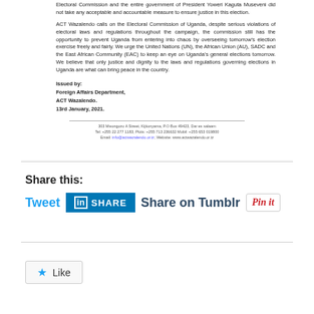Electoral Commission and the entire government of President Yoweri Kaguta Museveni did not take any acceptable and accountable measure to ensure justice in this election.
ACT Wazalendo calls on the Electoral Commission of Uganda, despite serious violations of electoral laws and regulations throughout the campaign, the commission still has the opportunity to prevent Uganda from entering into chaos by overseeing tomorrow's election exercise freely and fairly. We urge the United Nations (UN), the African Union (AU), SADC and the East African Community (EAC) to keep an eye on Uganda's general elections tomorrow. We believe that only justice and dignity to the laws and regulations governing elections in Uganda are what can bring peace in the country.
Issued by:
Foreign Affairs Department,
ACT Wazalendo.
13rd January, 2021.
303 Mwongozo A Street, Kijitonyama, P.O Box 49423, Dar es salaam
Tel: +255 22 277 1183, Plots: +255 713 236632 Mobil: +255 653 019800
Email: info@actwazalendo.or.tz, Website: www.actwazalendo.or.tz
Share this:
Tweet
Share
Share on Tumblr
Pin it
Like